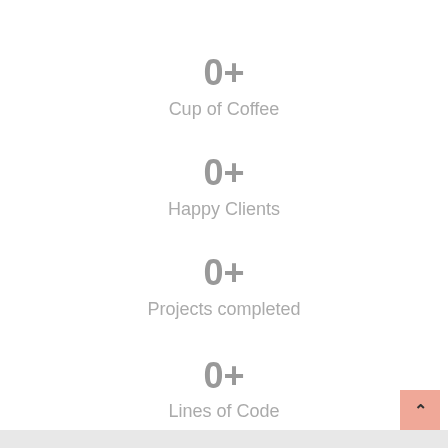0+
Cup of Coffee
0+
Happy Clients
0+
Projects completed
0+
Lines of Code